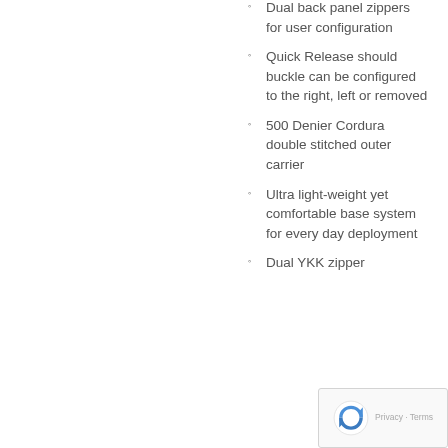Dual back panel zippers for user configuration
Quick Release should buckle can be configured to the right, left or removed
500 Denier Cordura double stitched outer carrier
Ultra light-weight yet comfortable base system for every day deployment
Dual YKK zipper